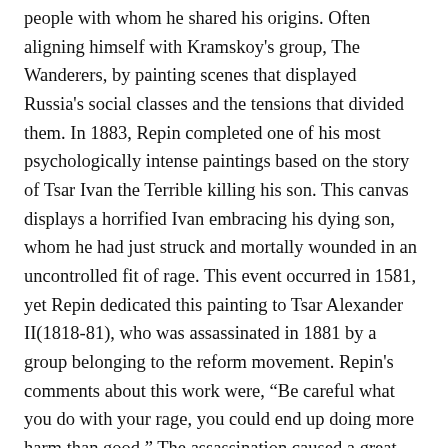people with whom he shared his origins. Often aligning himself with Kramskoy's group, The Wanderers, by painting scenes that displayed Russia's social classes and the tensions that divided them. In 1883, Repin completed one of his most psychologically intense paintings based on the story of Tsar Ivan the Terrible killing his son. This canvas displays a horrified Ivan embracing his dying son, whom he had just struck and mortally wounded in an uncontrolled fit of rage. This event occurred in 1581, yet Repin dedicated this painting to Tsar Alexander II(1818-81), who was assassinated in 1881 by a group belonging to the reform movement. Repin's comments about this work were, “Be careful what you do with your rage, you could end up doing more harm than good.” The assassination caused a great setback for reform in Russia. Alexander II had completed plans for an elected parliament the day before he died, but had not yet released the plan to the Russian people. Had he lived another forty-eight hours, the plan would have been released, Russia might have followed a path to constitutional monarchy instead of the long road